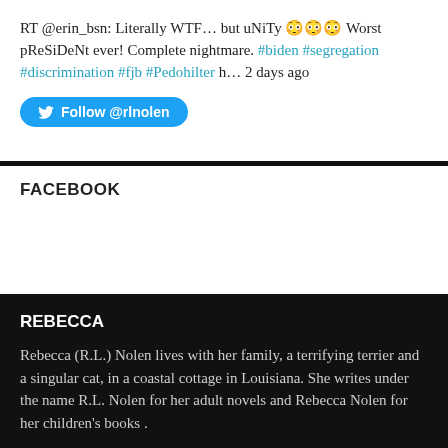RT @erin_bsn: Literally WTF… but uNiTy 😳😳😳 Worst pReSiDeNt ever! Complete nightmare. #biden #segregation #discrimination #fjb #Pedohilter h… 2 days ago
[Figure (other): Twitter Follow button for @rlnolen with bird icon]
FACEBOOK
REBECCA
Rebecca (R.L.) Nolen lives with her family, a terrifying terrier and a singular cat, in a coastal cottage in Louisiana. She writes under the name R.L. Nolen for her adult novels and Rebecca Nolen for her children's books .